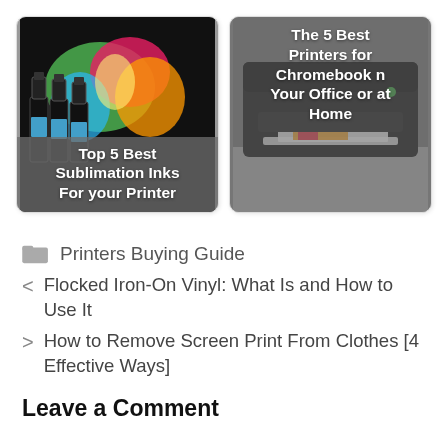[Figure (illustration): Two article thumbnail cards side by side. Left card shows colorful ink bottles with overlay text 'Top 5 Best Sublimation Inks For your Printer'. Right card shows a printer with overlay text 'The 5 Best Printers for Chromebook n Your Office or at Home'.]
Printers Buying Guide
< Flocked Iron-On Vinyl: What Is and How to Use It
> How to Remove Screen Print From Clothes [4 Effective Ways]
Leave a Comment